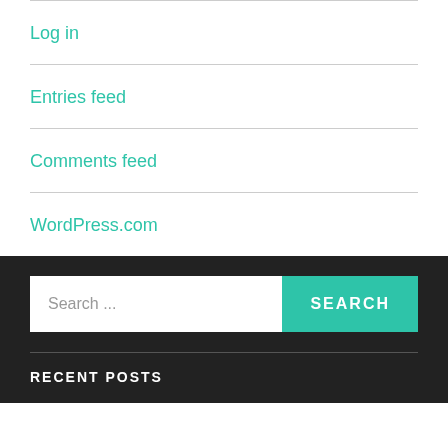Log in
Entries feed
Comments feed
WordPress.com
Search ...
RECENT POSTS